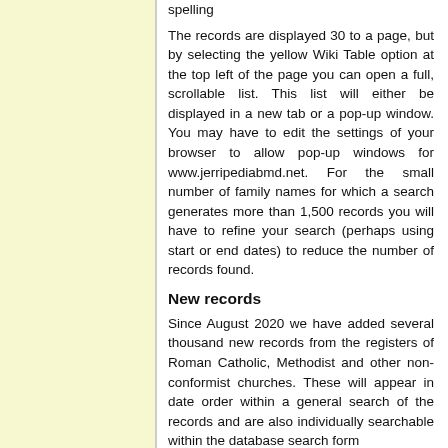spelling
The records are displayed 30 to a page, but by selecting the yellow Wiki Table option at the top left of the page you can open a full, scrollable list. This list will either be displayed in a new tab or a pop-up window. You may have to edit the settings of your browser to allow pop-up windows for www.jerripediabmd.net. For the small number of family names for which a search generates more than 1,500 records you will have to refine your search (perhaps using start or end dates) to reduce the number of records found.
New records
Since August 2020 we have added several thousand new records from the registers of Roman Catholic, Methodist and other non-conformist churches. These will appear in date order within a general search of the records and are also individually searchable within the database search form
A--B--C--D--E--F--G--H--I--J--K--L--M--N--O--P-